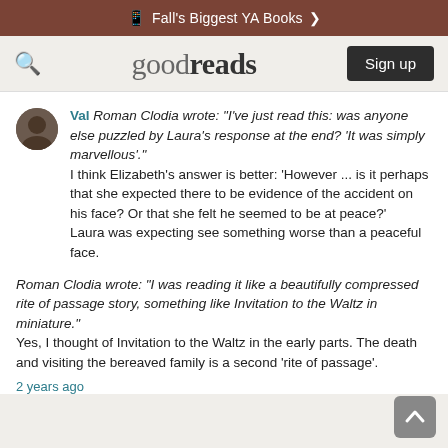Fall's Biggest YA Books
[Figure (logo): Goodreads logo with search icon and Sign up button]
Val Roman Clodia wrote: "I've just read this: was anyone else puzzled by Laura's response at the end? 'It was simply marvellous'."
I think Elizabeth's answer is better: 'However ... is it perhaps that she expected there to be evidence of the accident on his face? Or that she felt he seemed to be at peace?'
Laura was expecting see something worse than a peaceful face.
Roman Clodia wrote: "I was reading it like a beautifully compressed rite of passage story, something like Invitation to the Waltz in miniature."
Yes, I thought of Invitation to the Waltz in the early parts. The death and visiting the bereaved family is a second 'rite of passage'.
2 years ago